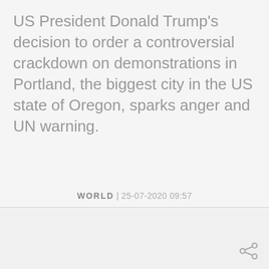US President Donald Trump's decision to order a controversial crackdown on demonstrations in Portland, the biggest city in the US state of Oregon, sparks anger and UN warning.
WORLD | 25-07-2020 09:57